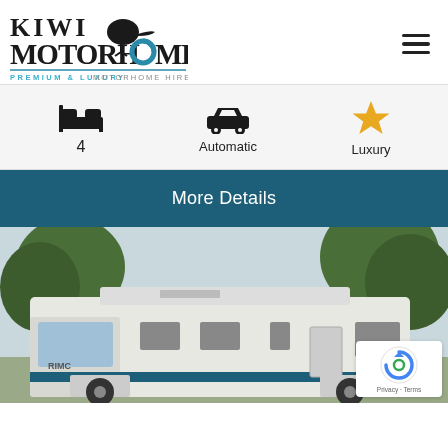[Figure (logo): Kiwi Motorhomes logo with kiwi bird graphic and text 'KIWI MOTORHOMES' with tagline 'PREMIUM & LUXURY MOTORHOME HIRE']
[Figure (infographic): Three icons: bed icon with '4', car icon with 'Automatic', star icon with 'Luxury']
More Details
[Figure (photo): Motorhome (RIMC branded) parked outdoors with large trees in background, blue sky visible]